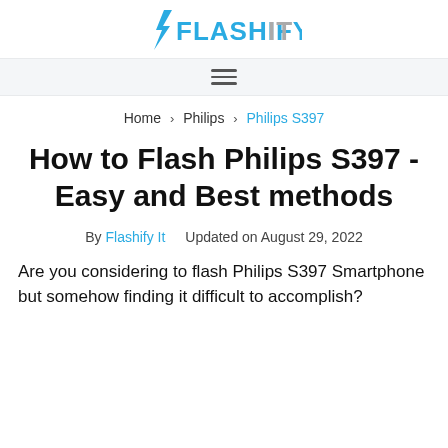FlashifyIt
Home > Philips > Philips S397
How to Flash Philips S397 - Easy and Best methods
By Flashify It   Updated on August 29, 2022
Are you considering to flash Philips S397 Smartphone but somehow finding it difficult to accomplish?